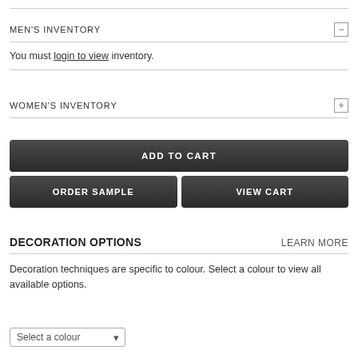MEN'S INVENTORY
You must login to view inventory.
WOMEN'S INVENTORY
ADD TO CART
ORDER SAMPLE
VIEW CART
DECORATION OPTIONS
LEARN MORE
Decoration techniques are specific to colour. Select a colour to view all available options.
Select a colour